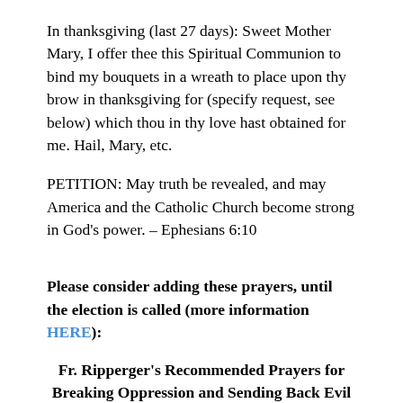In thanksgiving (last 27 days): Sweet Mother Mary, I offer thee this Spiritual Communion to bind my bouquets in a wreath to place upon thy brow in thanksgiving for (specify request, see below) which thou in thy love hast obtained for me. Hail, Mary, etc.
PETITION: May truth be revealed, and may America and the Catholic Church become strong in God's power. – Ephesians 6:10
Please consider adding these prayers, until the election is called (more information HERE):
Fr. Ripperger's Recommended Prayers for Breaking Oppression and Sending Back Evil Until the Election is Called